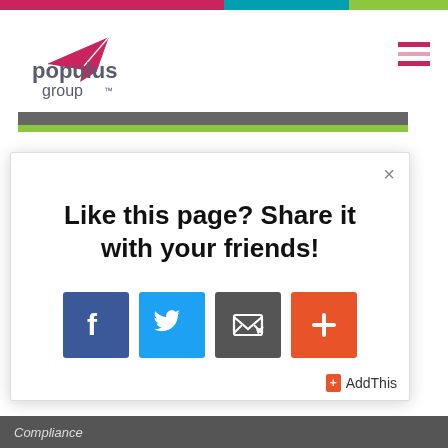[Figure (logo): Populus Group logo with pink paper plane and grey/pink text 'populus group']
[Figure (other): Hamburger menu icon with three horizontal lines in pink/light pink]
[Figure (other): Social share modal popup with title 'Like this page? Share it with your friends!' and four share buttons: Facebook, Twitter, Email, and a plus/more button. AddThis branding at bottom right.]
Compliance